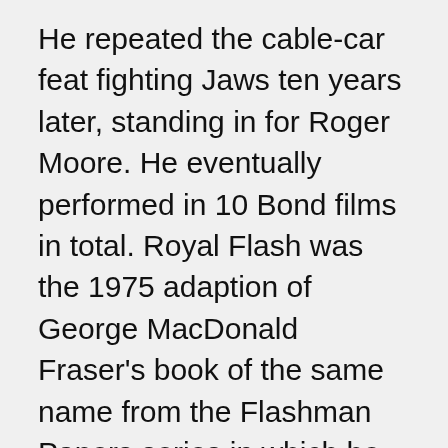He repeated the cable-car feat fighting Jaws ten years later, standing in for Roger Moore. He eventually performed in 10 Bond films in total. Royal Flash was the 1975 adaption of George MacDonald Fraser's book of the same name from the Flashman Papers series in which he featured alongside Malcolm McDowell of A Clockwork Orange fame and Oliver Reed.